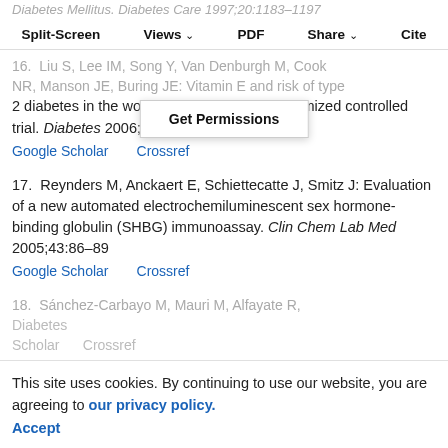Diabetes Mellitus. Diabetes Care 1997;20:1183–1197
Split-Screen  Views  PDF  Share  Cite
Get Permissions
16.  Liu S, Lee IM, Song Y, Van Denburgh M, Cook NR, Manson JE, Buring JE: Vitamin E and risk of type 2 diabetes in the women's health study randomized controlled trial. Diabetes 2006;55:2856–2862
Google Scholar   Crossref
17.  Reynders M, Anckaert E, Schiettecatte J, Smitz J: Evaluation of a new automated electrochemiluminescent sex hormone-binding globulin (SHBG) immunoassay. Clin Chem Lab Med 2005;43:86–89
Google Scholar   Crossref
18.  Sánchez-Carbayo M, Mauri M, Alfayate R...
This site uses cookies. By continuing to use our website, you are agreeing to our privacy policy. Accept